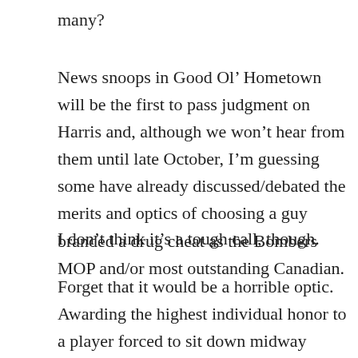many?
News snoops in Good Ol' Hometown will be the first to pass judgment on Harris and, although we won't hear from them until late October, I'm guessing some have already discussed/debated the merits and optics of choosing a guy branded a drug cheat as the Bombers MOP and/or most outstanding Canadian.
I don't think it's a tough call, though.
Forget that it would be a horrible optic. Awarding the highest individual honor to a player forced to sit down midway through the season due to a drug rap is just wrong.
...